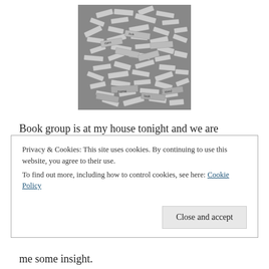[Figure (photo): Black and white photo of scattered word tiles/labels piled together]
Book group is at my house tonight and we are discussing Hiroshima in the Morning by Rahna Reiko Rizzuto, a memoir that, in simple terms, describes the time she spent in Japan in 2001 interviewing the Hibakusha (the survivors of the nuclear bomb). Beautifully written, the book goes far
Privacy & Cookies: This site uses cookies. By continuing to use this website, you agree to their use.
To find out more, including how to control cookies, see here: Cookie Policy
Close and accept
me some insight.